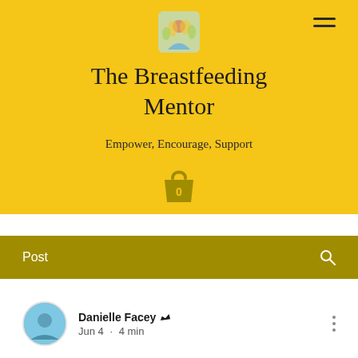[Figure (logo): Logo photo of a woman with flowers for The Breastfeeding Mentor website]
The Breastfeeding Mentor
Empower, Encourage, Support
[Figure (other): Shopping bag icon with 0 inside, in dark golden color]
Post
Danielle Facey  Jun 4 · 4 min